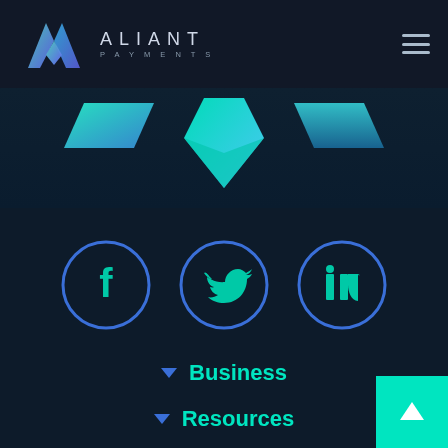[Figure (logo): Aliant Payments logo with geometric A icon and text ALIANT PAYMENTS in the navigation bar]
[Figure (illustration): Decorative geometric gem/diamond shapes in teal/cyan gradient colors at the top of the content area]
[Figure (infographic): Three social media icon circles: Facebook, Twitter, LinkedIn — outlined in blue with teal icons inside]
Business
Resources
About Aliant